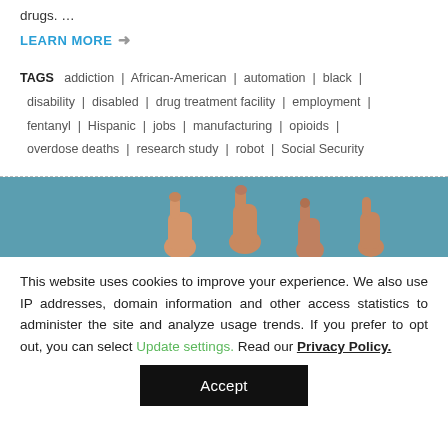drugs. …
LEARN MORE →
TAGS  addiction  |  African-American  |  automation  |  black  |  disability  |  disabled  |  drug treatment facility  |  employment  |  fentanyl  |  Hispanic  |  jobs  |  manufacturing  |  opioids  |  overdose deaths  |  research study  |  robot  |  Social Security
[Figure (photo): Banner image with teal/blue background showing multiple thumbs-up hand gestures]
This website uses cookies to improve your experience. We also use IP addresses, domain information and other access statistics to administer the site and analyze usage trends. If you prefer to opt out, you can select Update settings. Read our Privacy Policy.
Accept